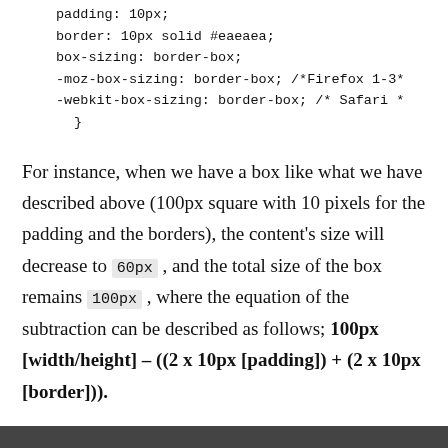padding: 10px;
border: 10px solid #eaeaea;
box-sizing: border-box;
-moz-box-sizing: border-box; /*Firefox 1-3*
-webkit-box-sizing: border-box; /* Safari *
}
For instance, when we have a box like what we have described above (100px square with 10 pixels for the padding and the borders), the content's size will decrease to 60px , and the total size of the box remains 100px , where the equation of the subtraction can be described as follows; 100px [width/height] – ((2 x 10px [padding]) + (2 x 10px [border])).